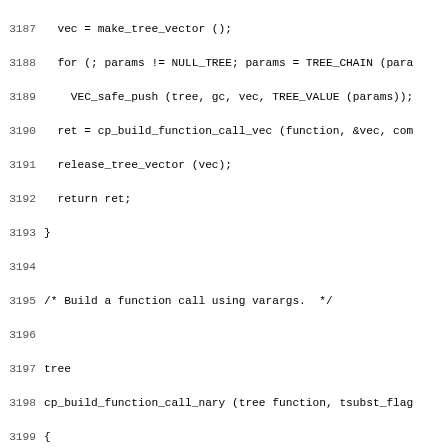Source code listing, lines 3187–3218, showing C++ functions cp_build_function_call_nary and related code.